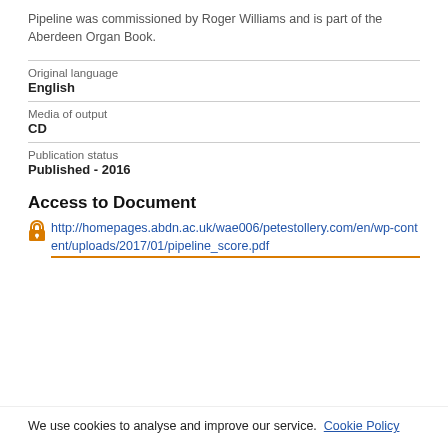Pipeline was commissioned by Roger Williams and is part of the Aberdeen Organ Book.
Original language
English
Media of output
CD
Publication status
Published - 2016
Access to Document
http://homepages.abdn.ac.uk/wae006/petestollery.com/en/wp-content/uploads/2017/01/pipeline_score.pdf
We use cookies to analyse and improve our service.  Cookie Policy